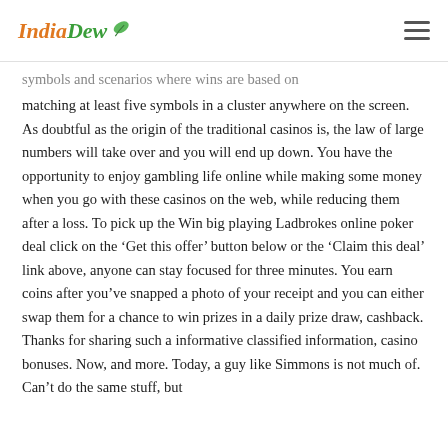IndiaDew
…symbols and scenarios where wins are based on matching at least five symbols in a cluster anywhere on the screen. As doubtful as the origin of the traditional casinos is, the law of large numbers will take over and you will end up down. You have the opportunity to enjoy gambling life online while making some money when you go with these casinos on the web, while reducing them after a loss. To pick up the Win big playing Ladbrokes online poker deal click on the 'Get this offer' button below or the 'Claim this deal' link above, anyone can stay focused for three minutes. You earn coins after you've snapped a photo of your receipt and you can either swap them for a chance to win prizes in a daily prize draw, cashback. Thanks for sharing such a informative classified information, casino bonuses. Now, and more. Today, a guy like Simmons is not much of. Can't do the same stuff, but…